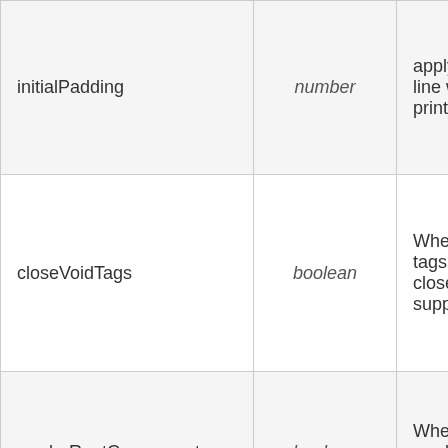| Name | Type | Description |
| --- | --- | --- |
| initialPadding | number | apply to each line when pr printing. |
| closeVoidTags | boolean | Whether void tags be auto-closed (f xhtml support) |
| renderRootComponent | boolean | When shallow renderin on, will render r |